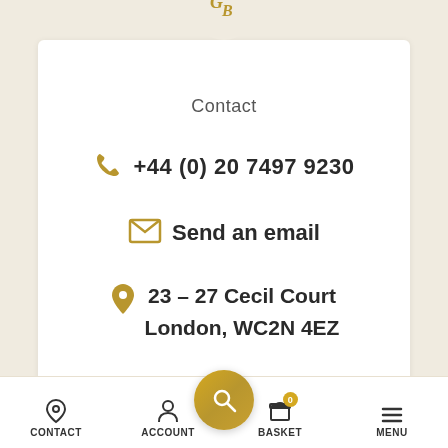[Figure (logo): GB monogram logo in gold on a cream/beige circular background]
Contact
+44 (0) 20 7497 9230
Send an email
23 – 27 Cecil Court
London, WC2N 4EZ
CONTACT   ACCOUNT   [search]   BASKET   MENU